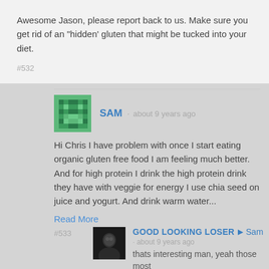Awesome Jason, please report back to us. Make sure you get rid of an "hidden' gluten that might be tucked into your diet.
#532
SAM · about 9 years ago
Hi Chris I have problem with once I start eating organic gluten free food I am feeling much better. And for high protein I drink the high protein drink they have with veggie for energy I use chia seed on juice and yogurt. And drink warm water...
Read More
#533
GOOD LOOKING LOSER ▶ Sam · about 9 years ago
thats interesting man, yeah those most